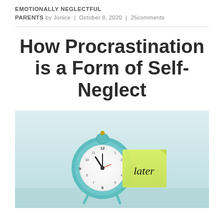EMOTIONALLY NEGLECTFUL PARENTS by Jonice | October 8, 2020 | 25comments
How Procrastination is a Form of Self-Neglect
[Figure (photo): A mint green alarm clock with a yellow sticky note attached that reads 'Later' in handwritten script, placed on a light blue surface against a light background.]